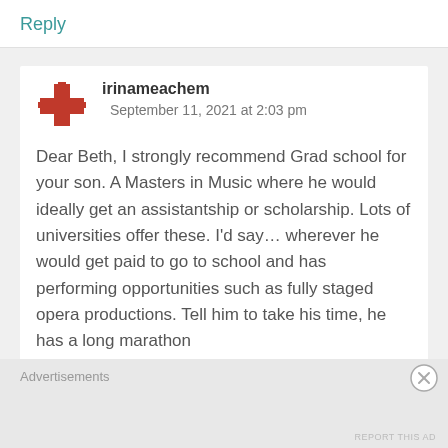Reply
irinameachem   September 11, 2021 at 2:03 pm
Dear Beth, I strongly recommend Grad school for your son. A Masters in Music where he would ideally get an assistantship or scholarship. Lots of universities offer these. I’d say… wherever he would get paid to go to school and has performing opportunities such as fully staged opera productions. Tell him to take his time, he has a long marathon
Advertisements